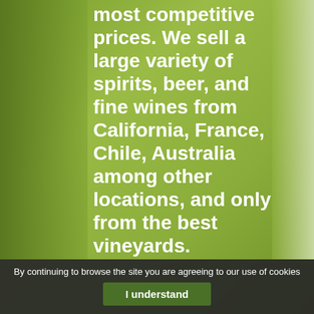[Figure (photo): Background photo of a wine/liquor store interior with green-tinted shelves visible on the left and right sides. The overall color tone is olive/lime green.]
most competitive prices. We sell a large variety of spirits, beer, and fine wines from California, France, Chile, Australia among other locations, and only from the best vineyards.
By continuing to browse the site you are agreeing to our use of cookies
I understand